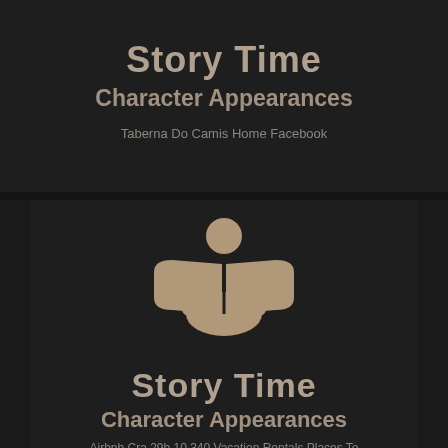Story Time
Character Appearances
Taberna Do Camis Home Facebook
[Figure (illustration): Silhouette icon of a person reading an open book, rendered in tan/beige color on dark background]
Story Time
Character Appearances
Airbnb Cra 29b 10 340 Vacation Rentals Places To